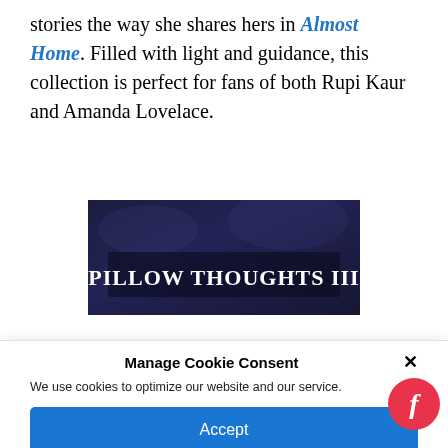stories the way she shares hers in Almost Home. Filled with light and guidance, this collection is perfect for fans of both Rupi Kaur and Amanda Lovelace.
[Figure (photo): Book cover for 'Pillow Thoughts III' — dark navy textured background with white serif title text reading PILLOW THOUGHTS III in a centered banner.]
Manage Cookie Consent
We use cookies to optimize our website and our service.
Accept
Cookie Policy   Privacy statement